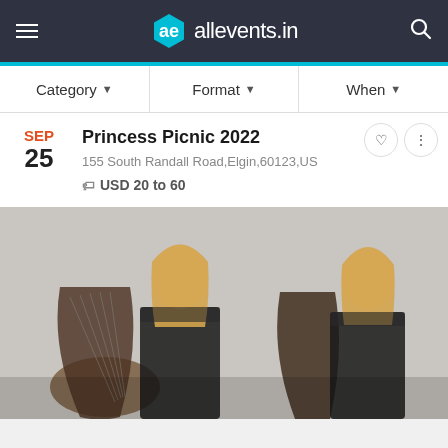[Figure (screenshot): allevents.in website header with hamburger menu, hexagonal logo, site name and search icon on dark background]
Category ▾   Format ▾   When ▾
SEP
25
Princess Picnic 2022
155 South Randall Road,Elgin,60123,US
USD 20 to 60
[Figure (photo): Two blonde women in black outfits holding harps against a grey background]